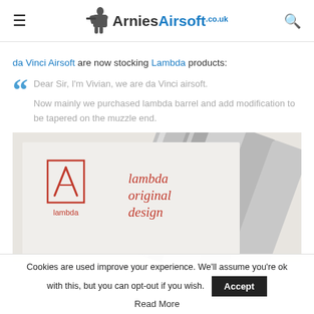Arnies Airsoft .co.uk
da Vinci Airsoft are now stocking Lambda products:
Dear Sir, I'm Vivian, we are da Vinci airsoft.

Now mainly we purchased lambda barrel and add modification to be tapered on the muzzle end.
[Figure (photo): Close-up photo of Lambda original design airsoft barrel product, showing the lambda logo and 'lambda original design' text on packaging, with metallic barrels in the background]
Cookies are used improve your experience. We'll assume you're ok with this, but you can opt-out if you wish. Accept
Read More